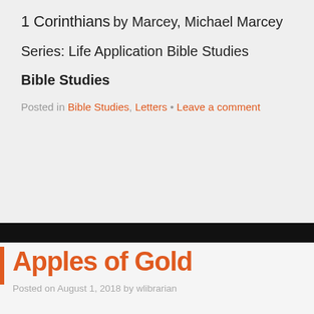1 Corinthians
by Marcey, Michael Marcey
Series: Life Application Bible Studies
Bible Studies
Posted in Bible Studies, Letters • Leave a comment
[Figure (photo): Dark horizontal band with blurred library/bookshelf background]
Apples of Gold
Posted on August 1, 2018 by wlibrarian